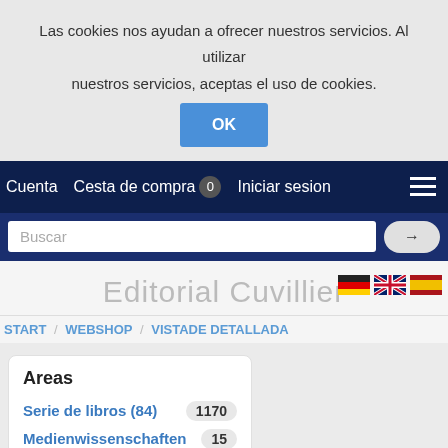Las cookies nos ayudan a ofrecer nuestros servicios. Al utilizar nuestros servicios, aceptas el uso de cookies.
OK
Cuenta  Cesta de compra  0  Iniciar sesion
Buscar
Editorial Cuvillier
START / WEBSHOP / VISTADE DETALLADA
Areas
Serie de libros (84)  1170
Medienwissenschaften  15
Letra  2119
Ciencias Naturales  5234